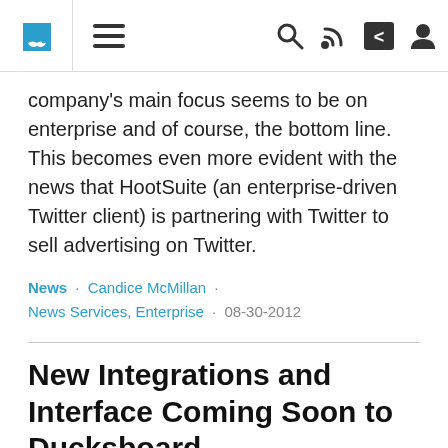[Navigation bar with puzzle icon, menu icon, search, RSS, share, and user icons]
company's main focus seems to be on enterprise and of course, the bottom line. This becomes even more evident with the news that HootSuite (an enterprise-driven Twitter client) is partnering with Twitter to sell advertising on Twitter.
News · Candice McMillan · News Services, Enterprise · 08-30-2012
New Integrations and Interface Coming Soon to Ducksboard
Ducksboard, a real-time data monitoring